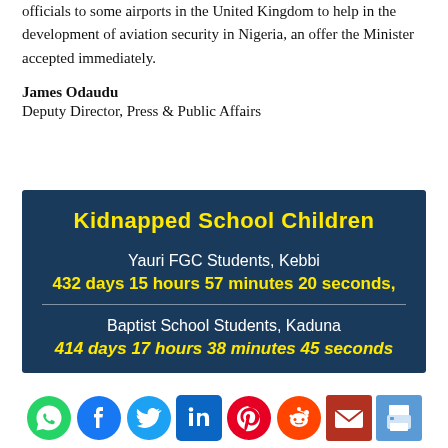officials to some airports in the United Kingdom to help in the development of aviation security in Nigeria, an offer the Minister accepted immediately.
James Odaudu
Deputy Director, Press & Public Affairs
[Figure (infographic): Dark blue box with yellow title 'Kidnapped School Children', showing two groups: Yauri FGC Students, Kebbi with countdown '432 days 15 hours 57 minutes 20 seconds,' and Baptist School Students, Kaduna with countdown '414 days 17 hours 38 minutes 45 seconds']
[Figure (infographic): Social sharing bar with icons for WhatsApp, Facebook, Twitter, LinkedIn, Pinterest, Reddit, Email, and Print]